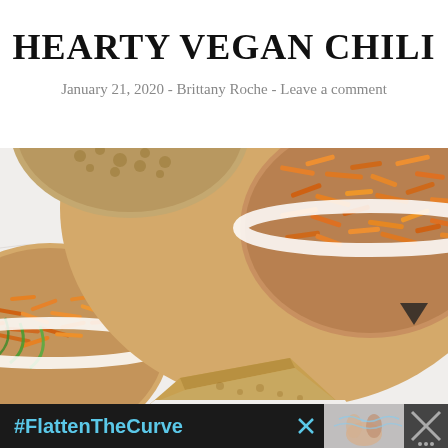HEARTY VEGAN CHILI
January 21, 2020 - Brittany Roche - Leave a comment
[Figure (photo): Overhead view of bowls of hearty vegan chili topped with shredded orange vegan cheese and green onions, on a marble surface, with a piece of cornbread in the foreground.]
#FlattenTheCurve